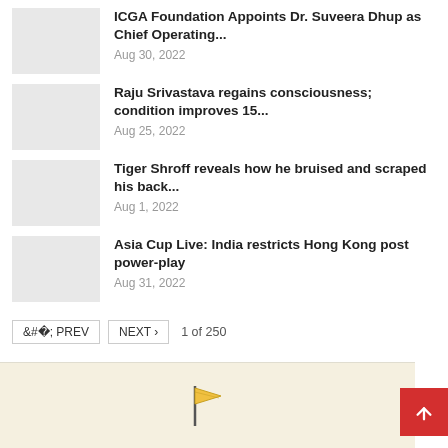ICGA Foundation Appoints Dr. Suveera Dhup as Chief Operating... Aug 30, 2022
Raju Srivastava regains consciousness; condition improves 15... Aug 25, 2022
Tiger Shroff reveals how he bruised and scraped his back... Aug 1, 2022
Asia Cup Live: India restricts Hong Kong post power-play Aug 31, 2022
< PREV   NEXT >   1 of 250
[Figure (map): Partial map area with a flag icon in the lower portion of the page]